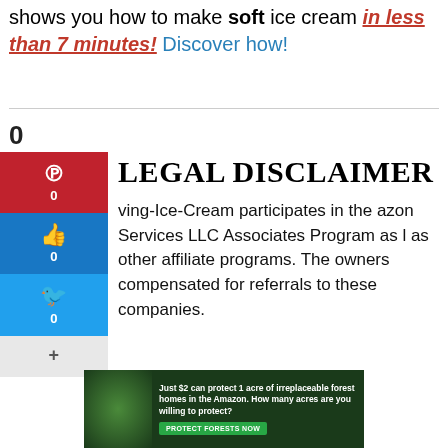shows you how to make soft ice cream in less than 7 minutes! Discover how!
LEGAL DISCLAIMER
0
Shares
ving-Ice-Cream participates in the azon Services LLC Associates Program as l as other affiliate programs. The owners compensated for referrals to these companies.
[Figure (infographic): Amazon conservation advertisement: 'Just $2 can protect 1 acre of irreplaceable forest homes in the Amazon. How many acres are you willing to protect?' with a green 'PROTECT FORESTS NOW' button and forest background image.]